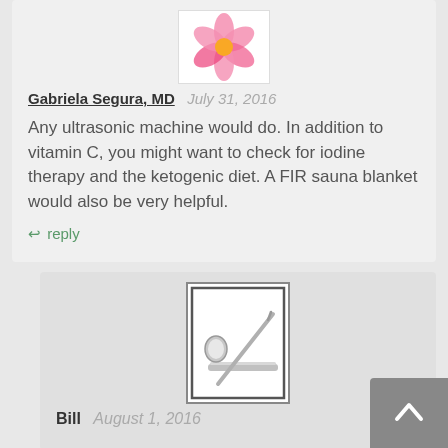[Figure (photo): Avatar image showing a pink flower, partially cropped at top]
Gabriela Segura, MD   July 31, 2016
Any ultrasonic machine would do. In addition to vitamin C, you might want to check for iodine therapy and the ketogenic diet. A FIR sauna blanket would also be very helpful.
reply
[Figure (photo): Avatar image showing dental tools (mirror and probe) on white background with black border]
Bill   August 1, 2016